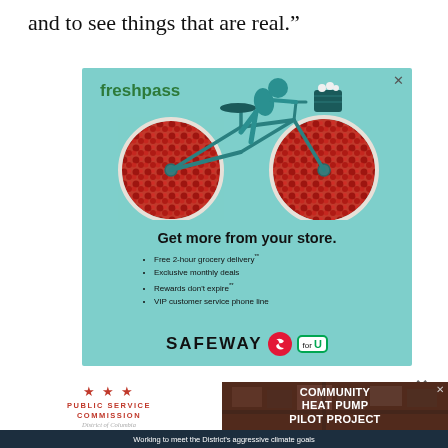and to see things that are real.”
[Figure (illustration): Safeway Fresh Pass advertisement showing a teal-themed bicycle with pomegranate/cranberry fruit wheels, a woman riding, 'fresh pass' logo, headline 'Get more from your store.' with bullet points: Free 2-hour grocery delivery, Exclusive monthly deals, Rewards don't expire, VIP customer service phone line. Safeway logo with S symbol and For U badge.]
[Figure (illustration): Public Service Commission District of Columbia advertisement for Community Heat Pump Pilot Project with aerial photo background. Banner text: Working to meet the District's aggressive climate goals]